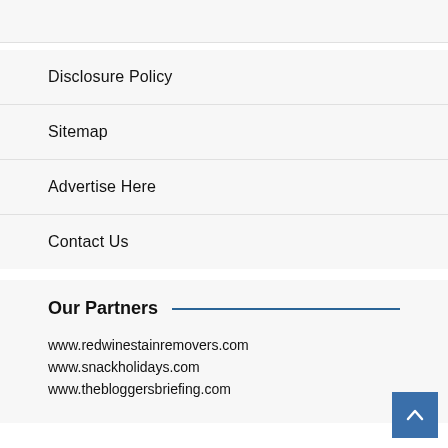Disclosure Policy
Sitemap
Advertise Here
Contact Us
Our Partners
www.redwinestainremovers.com
www.snackholidays.com
www.thebloggersbriefing.com